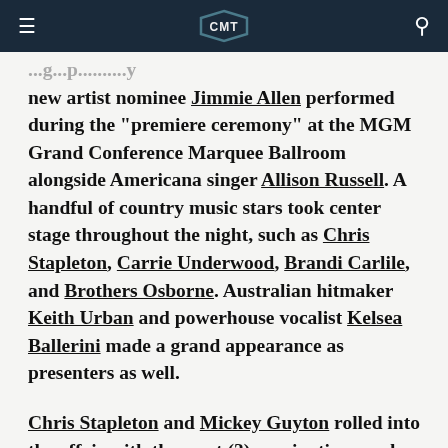CMT
new artist nominee Jimmie Allen performed during the "premiere ceremony" at the MGM Grand Conference Marquee Ballroom alongside Americana singer Allison Russell. A handful of country music stars took center stage throughout the night, such as Chris Stapleton, Carrie Underwood, Brandi Carlile, and Brothers Osborne. Australian hitmaker Keith Urban and powerhouse vocalist Kelsea Ballerini made a grand appearance as presenters as well.
Chris Stapleton and Mickey Guyton rolled into the affair with the most (3) nominations under their belt in country categories. Kacey Musgraves, Brothers Osborne, Miranda Lambert, and Sturgill Simpson were trailing close behind, with two nominations each. While icons Dolly Parton and Willie Nelson scored